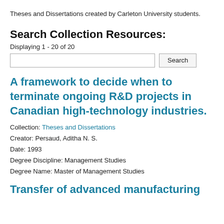Theses and Dissertations created by Carleton University students.
Search Collection Resources:
Displaying 1 - 20 of 20
[search input box] [Search button]
A framework to decide when to terminate ongoing R&D projects in Canadian high-technology industries.
Collection: Theses and Dissertations
Creator: Persaud, Aditha N. S.
Date: 1993
Degree Discipline: Management Studies
Degree Name: Master of Management Studies
Transfer of advanced manufacturing